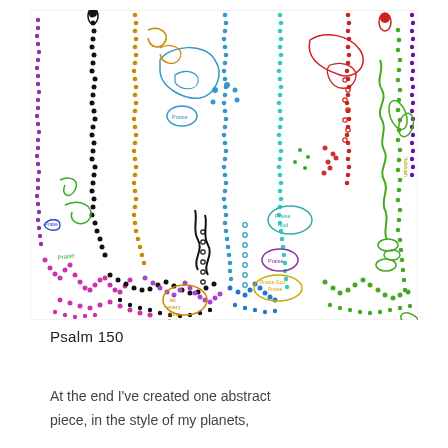[Figure (illustration): Abstract colorful dot-art illustration referencing Psalm 150, featuring multicolored dotted lines, swirls, plant-like forms, and speech bubbles with text 'Praise', 'Praise God', 'let every thing Praise God'. Uses purple, black, orange, blue, teal, red, green, magenta, yellow, and lime colors. Dots form vertical columns and organic shapes resembling underwater or alien plant life.]
Psalm 150
At the end I've created one abstract piece, in the style of my planets,